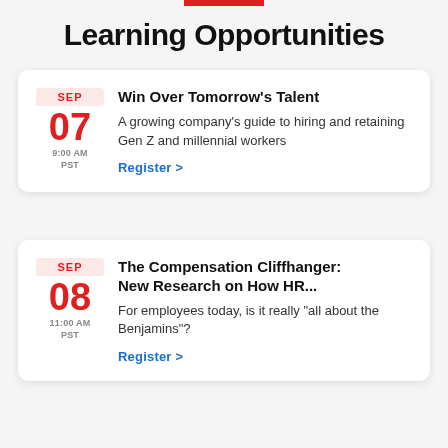Learning Opportunities
SEP 07 9:00 AM PST — Win Over Tomorrow's Talent — A growing company's guide to hiring and retaining Gen Z and millennial workers — Register >
SEP 08 11:00 AM PST — The Compensation Cliffhanger: New Research on How HR... — For employees today, is it really "all about the Benjamins"? — Register >